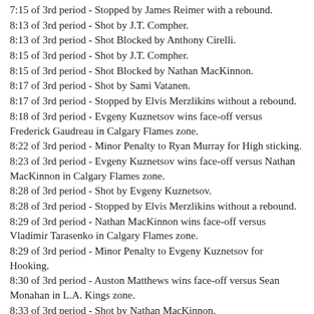7:15 of 3rd period - Stopped by James Reimer with a rebound.
8:13 of 3rd period - Shot by J.T. Compher.
8:13 of 3rd period - Shot Blocked by Anthony Cirelli.
8:15 of 3rd period - Shot by J.T. Compher.
8:15 of 3rd period - Shot Blocked by Nathan MacKinnon.
8:17 of 3rd period - Shot by Sami Vatanen.
8:17 of 3rd period - Stopped by Elvis Merzlikins without a rebound.
8:18 of 3rd period - Evgeny Kuznetsov wins face-off versus Frederick Gaudreau in Calgary Flames zone.
8:22 of 3rd period - Minor Penalty to Ryan Murray for High sticking.
8:23 of 3rd period - Evgeny Kuznetsov wins face-off versus Nathan MacKinnon in Calgary Flames zone.
8:28 of 3rd period - Shot by Evgeny Kuznetsov.
8:28 of 3rd period - Stopped by Elvis Merzlikins without a rebound.
8:29 of 3rd period - Nathan MacKinnon wins face-off versus Vladimir Tarasenko in Calgary Flames zone.
8:29 of 3rd period - Minor Penalty to Evgeny Kuznetsov for Hooking.
8:30 of 3rd period - Auston Matthews wins face-off versus Sean Monahan in L.A. Kings zone.
8:33 of 3rd period - Shot by Nathan MacKinnon.
8:33 of 3rd period - Shot Misses the Net.
8:46 of 3rd period - Icing by Auston Matthews.